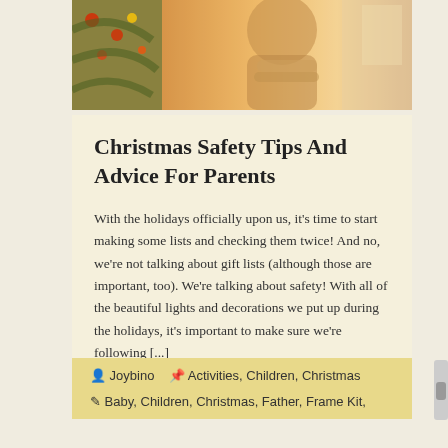[Figure (photo): Photo of a person decorating a Christmas tree, warm holiday lighting with bokeh background]
Christmas Safety Tips And Advice For Parents
With the holidays officially upon us, it's time to start making some lists and checking them twice! And no, we're not talking about gift lists (although those are important, too). We're talking about safety! With all of the beautiful lights and decorations we put up during the holidays, it's important to make sure we're following [...]
Joybino  Activities, Children, Christmas
Baby, Children, Christmas, Father, Frame Kit,